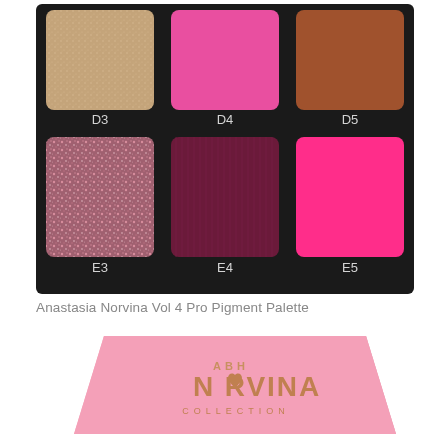[Figure (photo): Top portion of Anastasia Norvina Vol 4 Pro Pigment Palette showing 6 eyeshadow shades in a 2-row, 3-column arrangement on a black compact. Row D: D3 (champagne shimmer), D4 (bright pink shimmer), D5 (warm brown matte). Row E: E3 (rose glitter), E4 (deep burgundy matte), E5 (neon hot pink matte). Each shade labeled below with its code in light gray text.]
Anastasia Norvina Vol 4 Pro Pigment Palette
[Figure (photo): Pink square palette compact with rose gold foil text reading 'ABH NORVINA COLLECTION' with a heart replacing the O in NORVINA. The compact is photographed at an angle on a white background.]